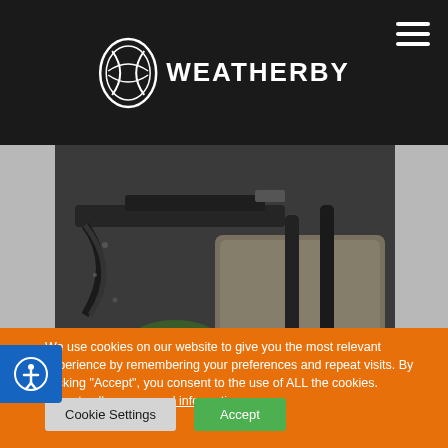Weatherby – logo and navigation header
[Figure (photo): Close-up photo of a hunting rifle with canvas bag and foliage, dark outdoor setting]
We use cookies on our website to give you the most relevant experience by remembering your preferences and repeat visits. By clicking "Accept", you consent to the use of ALL the cookies.
Do not sell my personal information.
Cookie Settings
Accept